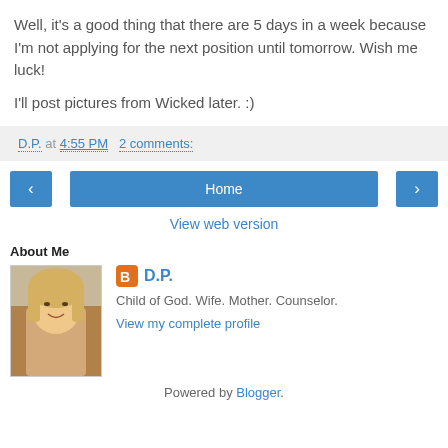Well, it's a good thing that there are 5 days in a week because I'm not applying for the next position until tomorrow. Wish me luck!
I'll post pictures from Wicked later. :)
D.P. at 4:55 PM   2 comments:
‹  Home  ›
View web version
About Me
[Figure (photo): Profile photo of D.P. — a woman with blonde hair, smiling]
D.P.
Child of God. Wife. Mother. Counselor.
View my complete profile
Powered by Blogger.